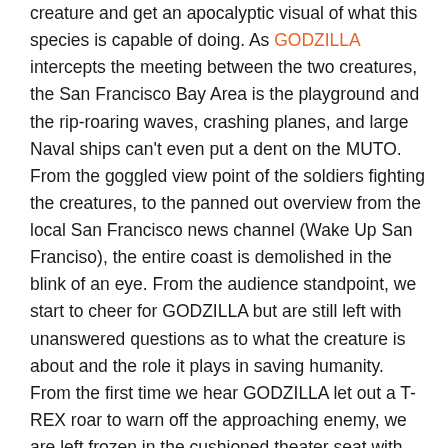creature and get an apocalyptic visual of what this species is capable of doing.  As GODZILLA intercepts the meeting between the two creatures, the San Francisco Bay Area is the playground and the rip-roaring waves, crashing planes, and large Naval ships can't even put a dent on the MUTO. From the goggled view point of the soldiers fighting the creatures, to the panned out overview from the local San Francisco news channel (Wake Up San Franciso), the entire coast is demolished in the blink of an eye. From the audience standpoint, we start to cheer for GODZILLA but are still left with unanswered questions as to what the creature is about and the role it plays in saving humanity.  From the first time we hear GODZILLA let out a T-REX roar to warn off the approaching enemy, we are left frozen in the cushioned theater seat with eyes glued to the screen, not knowing if GODZILLA would rip through the movie screen with any initial move.
Aaron Johnson was the overall stand out character and really took